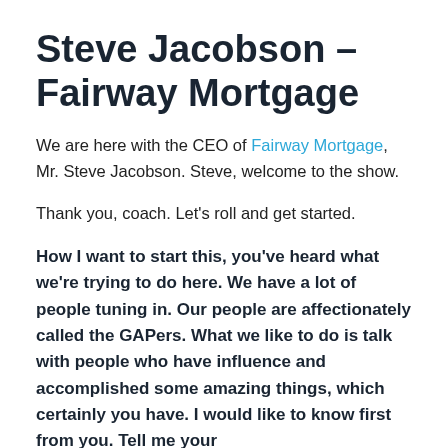Steve Jacobson – Fairway Mortgage
We are here with the CEO of Fairway Mortgage, Mr. Steve Jacobson. Steve, welcome to the show.
Thank you, coach. Let's roll and get started.
How I want to start this, you've heard what we're trying to do here. We have a lot of people tuning in. Our people are affectionately called the GAPers. What we like to do is talk with people who have influence and accomplished some amazing things, which certainly you have. I would like to know first from you. Tell me your